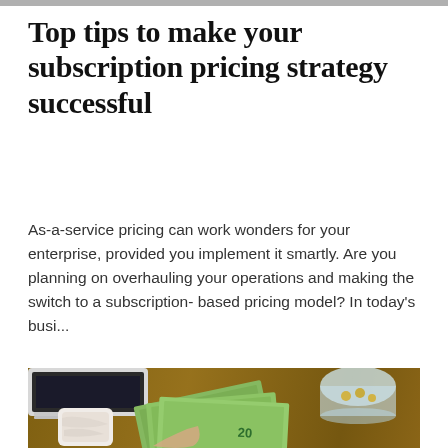Top tips to make your subscription pricing strategy successful
As-a-service pricing can work wonders for your enterprise, provided you implement it smartly. Are you planning on overhauling your operations and making the switch to a subscription- based pricing model? In today’s busi…
[Figure (photo): Overhead photo of a laptop, a glass jar with coins, a white marble-patterned smartphone, and a hand holding several US dollar bills (including a $20 bill) spread out on a wooden table.]